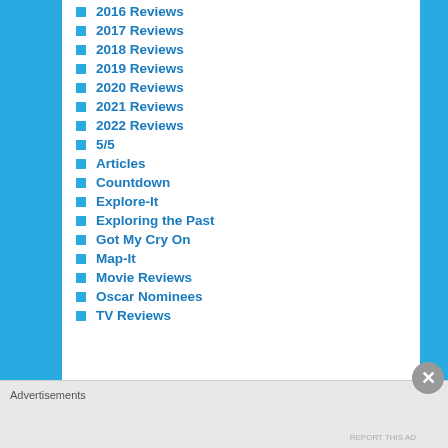2016 Reviews
2017 Reviews
2018 Reviews
2019 Reviews
2020 Reviews
2021 Reviews
2022 Reviews
5/5
Articles
Countdown
Explore-It
Exploring the Past
Got My Cry On
Map-It
Movie Reviews
Oscar Nominees
TV Reviews
Advertisements
REPORT THIS AD